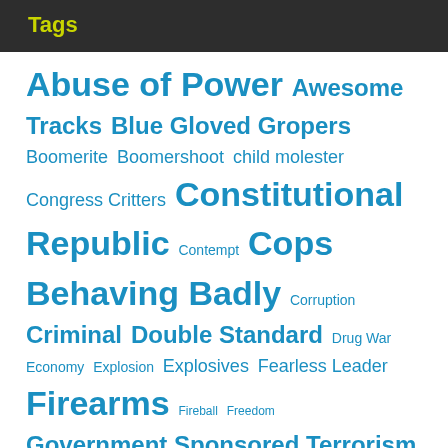Tags
Abuse of Power Awesome Tracks Blue Gloved Gropers Boomerite Boomershoot child molester Congress Critters Constitutional Republic Contempt Cops Behaving Badly Corruption Criminal Double Standard Drug War Economy Explosion Explosives Fearless Leader Firearms Fireball Freedom Government Sponsored Terrorism Grief of the Anti-Gunners Hands of Blue Hiding in Plain Sight Idiot Lack